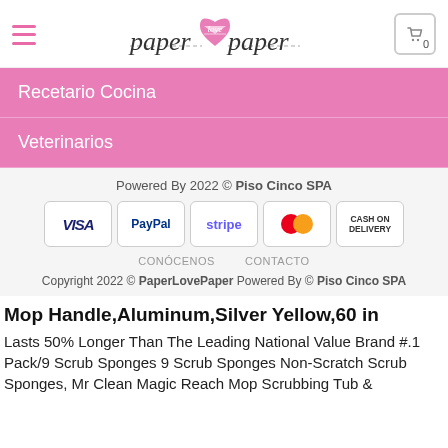[Figure (logo): Paper Love Paper logo with pink heart]
Recetario Cocina
Veterinarios
Powered By 2022 © Piso Cinco SPA
[Figure (infographic): Payment method icons: VISA, PayPal, stripe, MasterCard, CASH ON DELIVERY]
CONÓCENOS   CONTACTO
Copyright 2022 © PaperLovePaper Powered By © Piso Cinco SPA
Mop Handle,Aluminum,Silver Yellow,60 in
Lasts 50% Longer Than The Leading National Value Brand #.1 Pack/9 Scrub Sponges 9 Scrub Sponges Non-Scratch Scrub Sponges, Mr Clean Magic Reach Mop Scrubbing Tub &